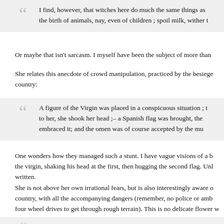I find, however, that witches here do much the same things as the birth of animals, nay, even of children ; spoil milk, wither t
Or maybe that isn't sarcasm. I myself have been the subject of more than
She relates this anecdote of crowd manipulation, practiced by the besieg country:
A figure of the Virgin was placed in a conspicuous situation ; t to her, she shook her head ;– a Spanish flag was brought, the embraced it; and the omen was of course accepted by the mu
One wonders how they managed such a stunt. I have vague visions of a the virgin, shaking his head at the first, then hugging the second flag. Un written.
She is not above her own irrational fears, but is also interestingly aware country, with all the accompanying dangers (remember, no police or amb four wheel drives to get through rough terrain). This is no delicate flower reality: